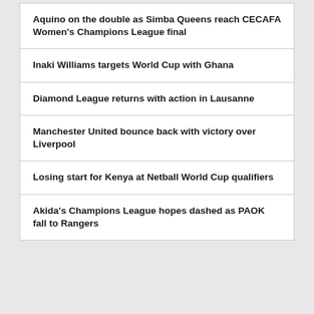Aquino on the double as Simba Queens reach CECAFA Women’s Champions League final
Inaki Williams targets World Cup with Ghana
Diamond League returns with action in Lausanne
Manchester United bounce back with victory over Liverpool
Losing start for Kenya at Netball World Cup qualifiers
Akida’s Champions League hopes dashed as PAOK fall to Rangers